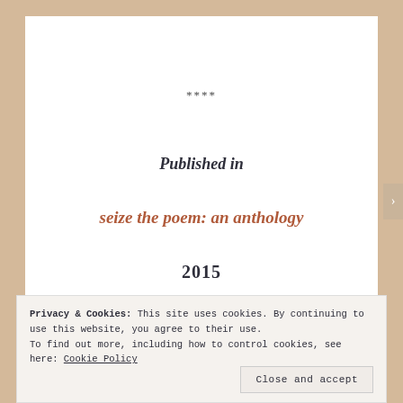****
Published in
seize the poem: an anthology
2015
Privacy & Cookies: This site uses cookies. By continuing to use this website, you agree to their use.
To find out more, including how to control cookies, see here: Cookie Policy
Close and accept